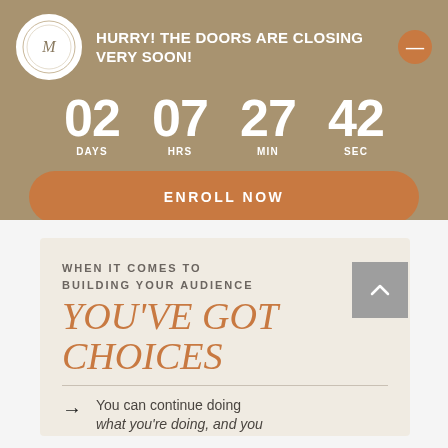HURRY! THE DOORS ARE CLOSING VERY SOON!
[Figure (other): Countdown timer showing 02 DAYS 07 HRS 27 MIN 42 SEC]
ENROLL NOW
WHEN IT COMES TO BUILDING YOUR AUDIENCE
YOU'VE GOT CHOICES
You can continue doing what you're doing, and you